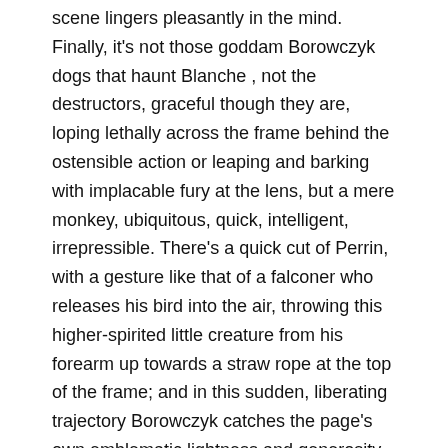scene lingers pleasantly in the mind. Finally, it's not those goddam Borowczyk dogs that haunt Blanche , not the destructors, graceful though they are, loping lethally across the frame behind the ostensible action or leaping and barking with implacable fury at the lens, but a mere monkey, ubiquitous, quick, intelligent, irrepressible. There's a quick cut of Perrin, with a gesture like that of a falconer who releases his bird into the air, throwing this higher-spirited little creature from his forearm up towards a straw rope at the top of the frame; and in this sudden, liberating trajectory Borowczyk catches the page's own emblematic lightness and generosity of spirit, compared to which the courtly graces and consuming passions of the highborn people of the castle seem like dross.
BLANCHE
Once upon a time, the conditions...